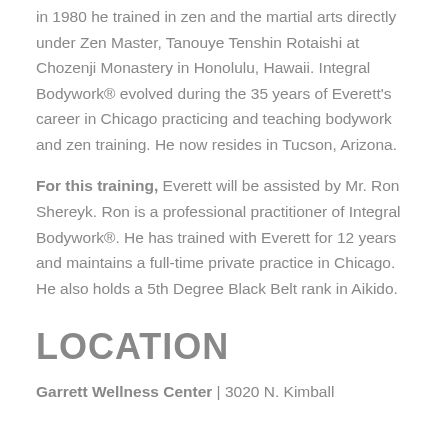in 1980 he trained in zen and the martial arts directly under Zen Master, Tanouye Tenshin Rotaishi at Chozenji Monastery in Honolulu, Hawaii. Integral Bodywork® evolved during the 35 years of Everett's career in Chicago practicing and teaching bodywork and zen training. He now resides in Tucson, Arizona.
For this training, Everett will be assisted by Mr. Ron Shereyk. Ron is a professional practitioner of Integral Bodywork®. He has trained with Everett for 12 years and maintains a full-time private practice in Chicago. He also holds a 5th Degree Black Belt rank in Aikido.
LOCATION
Garrett Wellness Center | 3020 N. Kimball